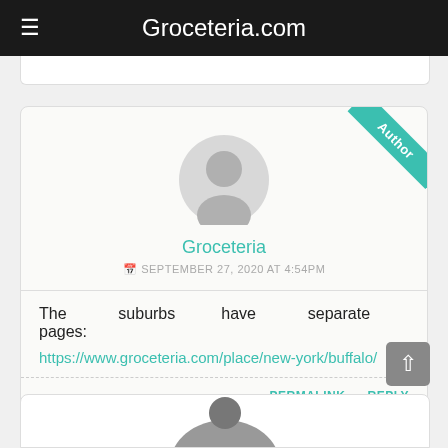Groceteria.com
Groceteria
SEPTEMBER 27, 2020 AT 4:54PM
The suburbs have separate pages: https://www.groceteria.com/place/new-york/buffalo/
PERMALINK · REPLY
[Figure (other): Partial image at bottom of page, appears to be a profile or decorative image, mostly cut off]